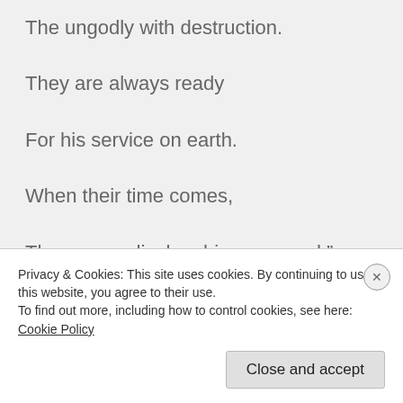The ungodly with destruction.
They are always ready
For his service on earth.
When their time comes,
They never disobey his command.”
Privacy & Cookies: This site uses cookies. By continuing to use this website, you agree to their use.
To find out more, including how to control cookies, see here: Cookie Policy